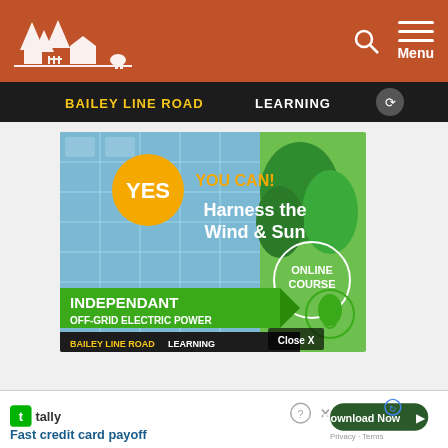Bailey Line Road — navigation header with logo, search, and menu
[Figure (screenshot): Bailey Line Road Learning banner strip — dark background with orange and white bold text]
[Figure (infographic): Advertisement: YES YOU CAN! Harness the Wind & Sun — Independant Off-Grid Electric Power — Online Course — Bailey Line Road Learning. Solar panels background with green trees, green leaf lightbulb icon, Close X button overlay.]
[Figure (infographic): Bottom ad bar: Tally logo — Fast credit card payoff — Download Now button — reCAPTCHA — Privacy · Terms]